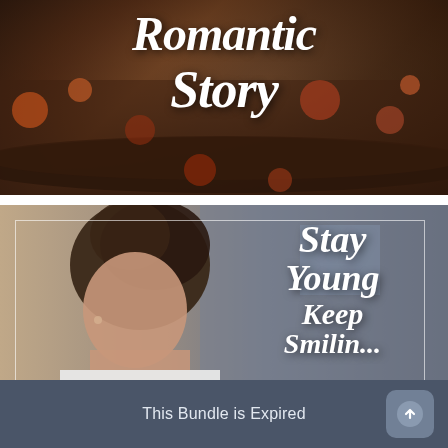[Figure (photo): Dark autumn background with fallen log and leaves, overlaid with white cursive/brush script text reading 'Romantic Story']
[Figure (photo): Young woman with braided updo hairstyle, side profile, wearing white top, with white border overlay and white brush script text reading 'Stay Young Keep Smiling' on the right side]
This Bundle is Expired